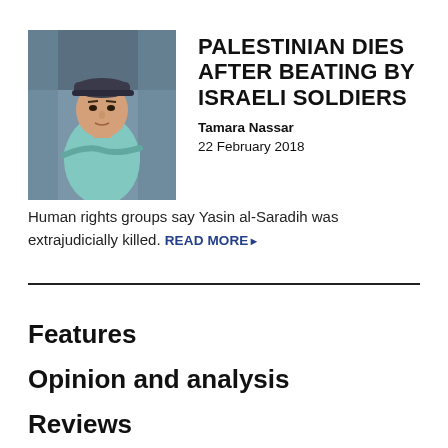[Figure (photo): Young Palestinian man wearing a cap and light blue t-shirt, arms crossed, standing against a blurred background.]
PALESTINIAN DIES AFTER BEATING BY ISRAELI SOLDIERS
Tamara Nassar
22 February 2018
Human rights groups say Yasin al-Saradih was extrajudicially killed. READ MORE ▶
Features
Opinion and analysis
Reviews